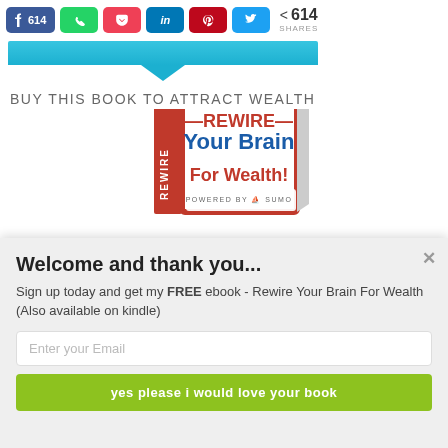[Figure (screenshot): Social media share buttons bar showing Facebook (614), WhatsApp, Pocket, LinkedIn, Pinterest, Twitter icons, and a share count of 614 SHARES]
[Figure (illustration): Blue horizontal banner with a downward-pointing chevron arrow, forming a dropdown/pointer shape]
BUY THIS BOOK TO ATTRACT WEALTH
[Figure (photo): Book cover showing 'Rewire Your Brain For Wealth' with red cover and white text, with 'POWERED BY SUMO' badge overlay]
Welcome and thank you...
Sign up today and get my FREE ebook - Rewire Your Brain For Wealth (Also available on kindle)
Enter your Email
yes please i would love your book